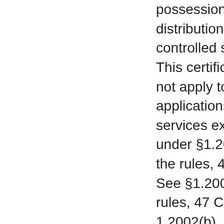possession or distribution of a controlled substance. This certification does not apply to applications filed in services exempted under §1.2002(c) of the rules, 47 CFR . See §1.2002(b) of the rules, 47 CFR § 1.2002(b), for the definition of "party to the application" as used in this certification § 1.2002(c). The Assignee certifies that all statements made in this application and in